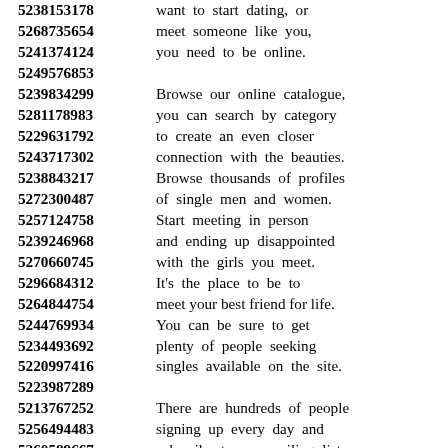5238153178 want to start dating, or
5268735654 meet someone like you,
5241374124 you need to be online.
5249576853
5239834299 Browse our online catalogue,
5281178983 you can search by category
5229631792 to create an even closer
5243717302 connection with the beauties.
5238843217 Browse thousands of profiles
5272300487 of single men and women.
5257124758 Start meeting in person
5239246968 and ending up disappointed
5270660745 with the girls you meet.
5296684312 It's the place to be to
5264844754 meet your best friend for life.
5244769934 You can be sure to get
5234493692 plenty of people seeking
5220997416 singles available on the site.
5223987289
5213767252 There are hundreds of people
5256494483 signing up every day and
5260589667 subscribe to our mailing list
5238774480 to receive news and updates.
5213118757 The world's most popular
5263392401 dating website, you have